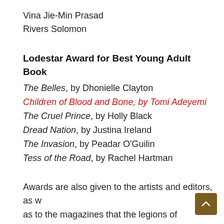Vina Jie-Min Prasad
Rivers Solomon
Lodestar Award for Best Young Adult Book
The Belles, by Dhonielle Clayton
Children of Blood and Bone, by Tomi Adeyemi
The Cruel Prince, by Holly Black
Dread Nation, by Justina Ireland
The Invasion, by Peadar O'Guilin
Tess of the Road, by Rachel Hartman
Awards are also given to the artists and editors, as well as to the magazines that the legions of scifi/fantasy fans